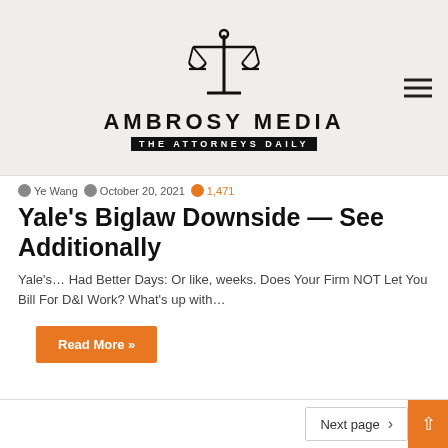[Figure (logo): Ambrosy Media - The Attorneys Daily logo with scales of justice icon]
Ye Wang  October 20, 2021  1,471
Yale's Biglaw Downside — See Additionally
Yale's… Had Better Days: Or like, weeks. Does Your Firm NOT Let You Bill For D&I Work? What's up with…
Read More »
Next page